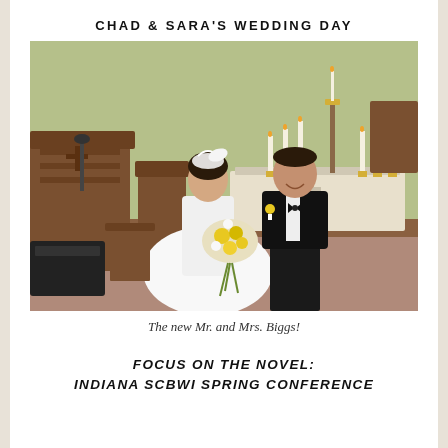CHAD & SARA'S WEDDING DAY
[Figure (photo): Wedding photo of a bride in a white dress holding yellow and white bouquet and groom in black tuxedo with yellow boutonniere, standing in a church with wooden pews and altar in background]
The new Mr. and Mrs. Biggs!
FOCUS ON THE NOVEL:
INDIANA SCBWI SPRING CONFERENCE